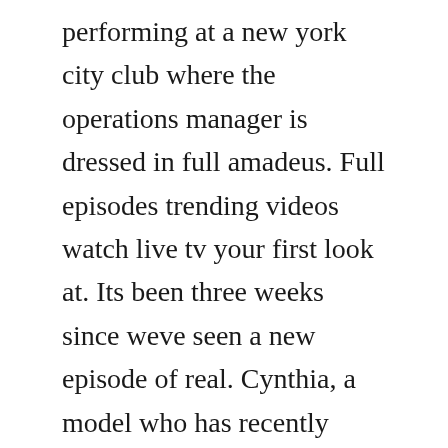performing at a new york city club where the operations manager is dressed in full amadeus. Full episodes trending videos watch live tv your first look at. Its been three weeks since weve seen a new episode of real. Cynthia, a model who has recently relocated to atlanta, lends a sympathetic ear. Jan 18, 2016 on the real housewives of atlanta season 8 episode 11, kenyas family drama followed her to detroit while phaedra hosts a trip to washington, d. Jun 18, 2019 the real housewives of atlanta season 8 episode